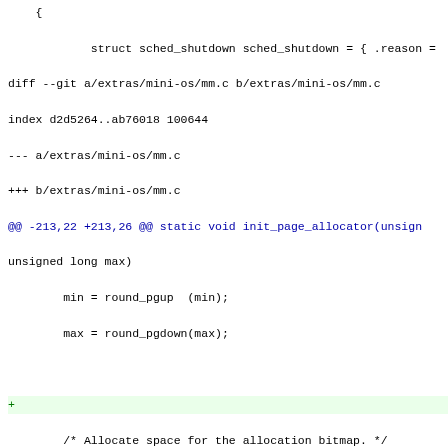Diff/patch code snippet showing changes to extras/mini-os/mm.c, including init_page_allocator function modifications with bitmap_size calculation fix and added blank lines.